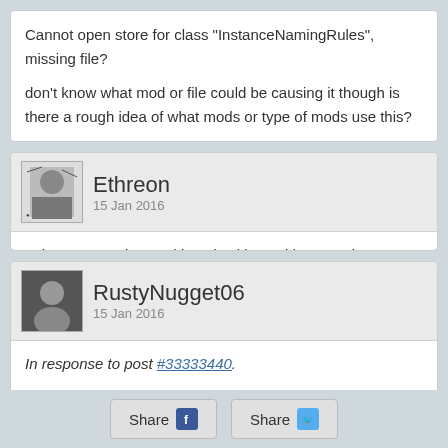Cannot open store for class "InstanceNamingRules", missing file?

don't know what mod or file could be causing it though is there a rough idea of what mods or type of mods use this?
Ethreon
15 Jan 2016
Lel, CTD on using workbench with or without mods. GG
RustyNugget06
15 Jan 2016
In response to post #33333440.
Spoiler [Show]
loooool